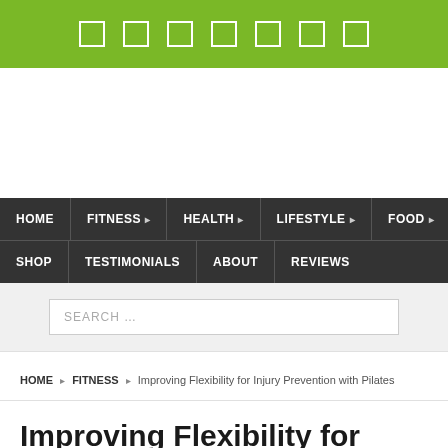[Figure (other): Green top bar with 7 white square icon placeholders]
[Figure (other): White advertisement/banner area]
HOME  FITNESS  HEALTH  LIFESTYLE  FOOD  SHOP  TESTIMONIALS  ABOUT  REVIEWS
SEARCH ...
HOME  FITNESS  Improving Flexibility for Injury Prevention with Pilates
Improving Flexibility for Injury